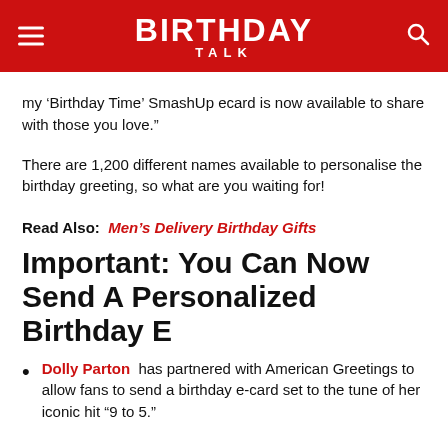BIRTHDAY TALK
my ‘Birthday Time’ SmashUp ecard is now available to share with those you love.”
There are 1,200 different names available to personalise the birthday greeting, so what are you waiting for!
Read Also:  Men’s Delivery Birthday Gifts
Important: You Can Now Send A Personalized Birthday E
Dolly Parton has partnered with American Greetings to allow fans to send a birthday e-card set to the tune of her iconic hit “9 to 5.”
You can personalize the birthday greeting with any one of 1,200 different names.